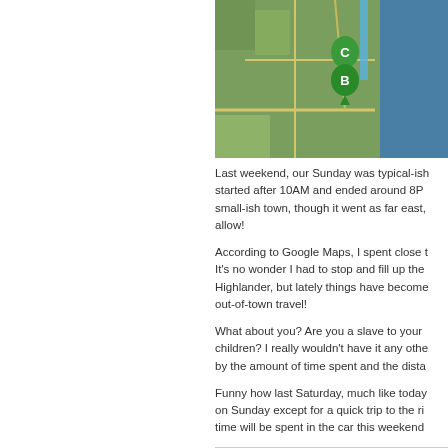[Figure (map): Google Maps satellite view showing a coastal area with green map markers labeled C and B]
Last weekend, our Sunday was typical-ish started after 10AM and ended around 8P small-ish town, though it went as far east, allow!
According to Google Maps, I spent close t It's no wonder I had to stop and fill up the Highlander, but lately things have become out-of-town travel!
What about you? Are you a slave to your children? I really wouldn't have it any othe by the amount of time spent and the dista
Funny how last Saturday, much like today on Sunday except for a quick trip to the ri time will be spent in the car this weekend
Posted on 05 November 2011 at 06:00 AM in celb Comments (4)
[Figure (screenshot): Tweet button (blue) and Pin it button (white with red border)]
01 November 2011
Reflection On l O...